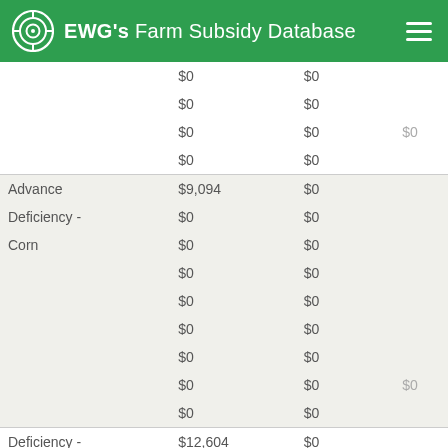EWG's Farm Subsidy Database
|  | Col1 | Col2 | Col3 |
| --- | --- | --- | --- |
|  | $0 | $0 |  |
|  | $0 | $0 |  |
|  | $0 | $0 | $0 |
|  | $0 | $0 |  |
| Advance | $9,094 | $0 |  |
| Deficiency - | $0 | $0 |  |
| Corn | $0 | $0 |  |
|  | $0 | $0 |  |
|  | $0 | $0 |  |
|  | $0 | $0 |  |
|  | $0 | $0 |  |
|  | $0 | $0 | $0 |
|  | $0 | $0 |  |
| Deficiency - | $12,604 | $0 |  |
| Corn | $0 | $0 |  |